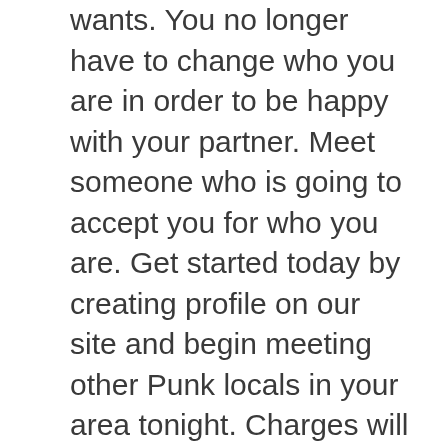wants. You no longer have to change who you are in order to be happy with your partner. Meet someone who is going to accept you for who you are. Get started today by creating profile on our site and begin meeting other Punk locals in your area tonight. Charges will accrue if you purchase a premium membership which is offered upon completion of your profile. This site is billed by help.
Punk Dating is part of the Online Connections dating network, which includes many other general and punk dating sites. As a member of Punk Dating, your profile will automatically be shown on related punk dating sites or to related users in the Online Connections network at no additional charge. For more information on how this works, click here. Sign Up Have an account? Sign in Your screen name: Keep me logged in. Meet Punk Singles Today!
By joining you agree to our Terms of ServiceShared Site Disclosure and Privacy Policy. You also agree to receive